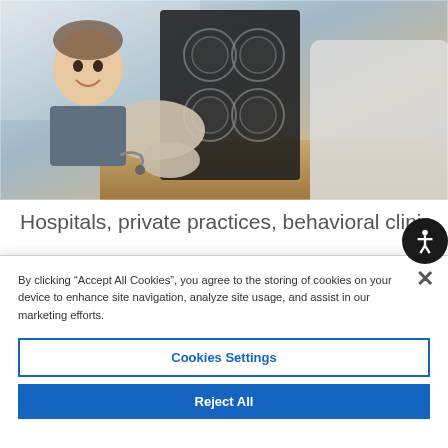[Figure (photo): Doctor holding up and reviewing an X-ray/MRI scan film, with a smiling patient in the background at a medical consultation.]
Hospitals, private practices, behavioral clinic
By clicking “Accept All Cookies”, you agree to the storing of cookies on your device to enhance site navigation, analyze site usage, and assist in our marketing efforts.
Cookies Settings
Reject All